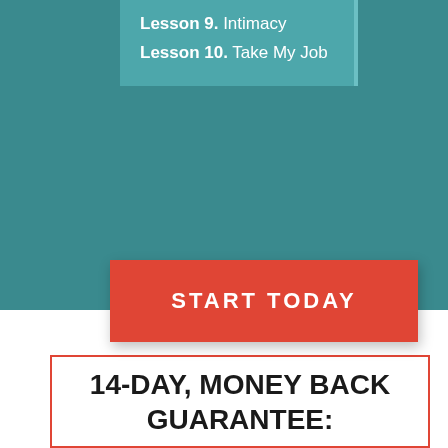Lesson 9. Intimacy
Lesson 10. Take My Job
START TODAY
14-DAY, MONEY BACK GUARANTEE: